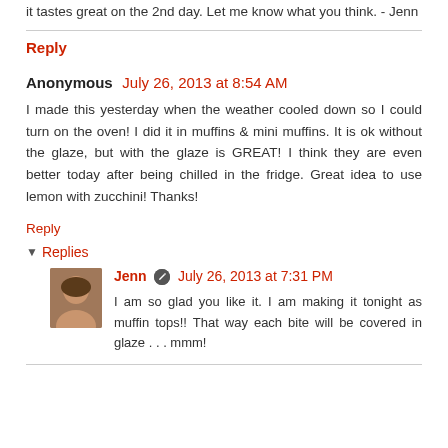It tastes great on the 2nd day. Let me know what you think. - Jenn
Reply
Anonymous   July 26, 2013 at 8:54 AM
I made this yesterday when the weather cooled down so I could turn on the oven! I did it in muffins & mini muffins. It is ok without the glaze, but with the glaze is GREAT! I think they are even better today after being chilled in the fridge. Great idea to use lemon with zucchini! Thanks!
Reply
Replies
Jenn   July 26, 2013 at 7:31 PM
I am so glad you like it. I am making it tonight as muffin tops!! That way each bite will be covered in glaze . . . mmm!